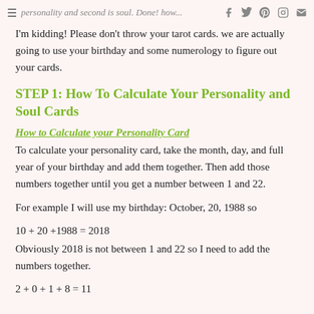personality and second is soul. Done! how... I'm kidding! Please don't throw your tarot cards. we are actually going to use your birthday and some numerology to figure out your cards.
STEP 1: How To Calculate Your Personality and Soul Cards
How to Calculate your Personality Card
To calculate your personality card, take the month, day, and full year of your birthday and add them together. Then add those numbers together until you get a number between 1 and 22.
For example I will use my birthday: October, 20, 1988 so
Obviously 2018 is not between 1 and 22 so I need to add the numbers together.